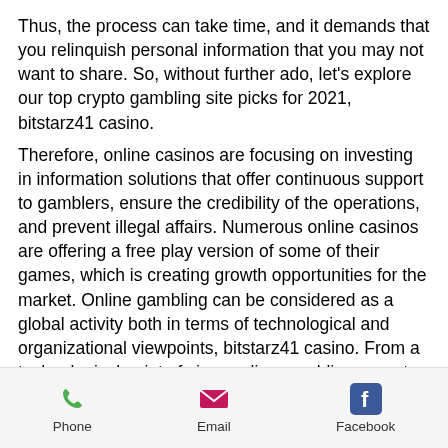Thus, the process can take time, and it demands that you relinquish personal information that you may not want to share. So, without further ado, let's explore our top crypto gambling site picks for 2021, bitstarz41 casino.
Therefore, online casinos are focusing on investing in information solutions that offer continuous support to gamblers, ensure the credibility of the operations, and prevent illegal affairs. Numerous online casinos are offering a free play version of some of their games, which is creating growth opportunities for the market. Online gambling can be considered as a global activity both in terms of technological and organizational viewpoints, bitstarz41 casino. From a technological point of view, online gambling operates via the internet.
Phone   Email   Facebook